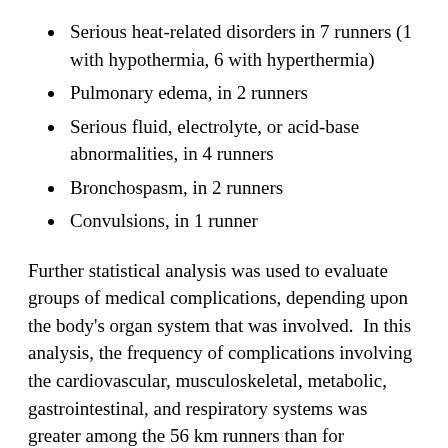Serious heat-related disorders in 7 runners (1 with hypothermia, 6 with hyperthermia)
Pulmonary edema, in 2 runners
Serious fluid, electrolyte, or acid-base abnormalities, in 4 runners
Bronchospasm, in 2 runners
Convulsions, in 1 runner
Further statistical analysis was used to evaluate groups of medical complications, depending upon the body's organ system that was involved.  In this analysis, the frequency of complications involving the cardiovascular, musculoskeletal, metabolic, gastrointestinal, and respiratory systems was greater among the 56 km runners than for